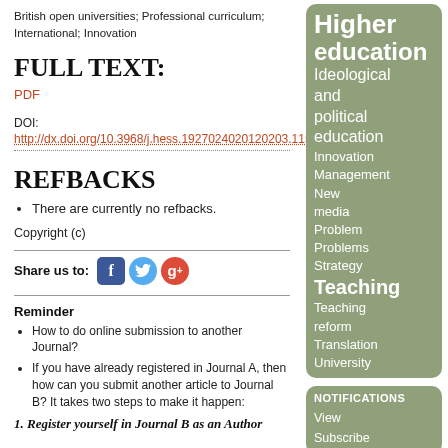British open universities; Professional curriculum; International; Innovation
FULL TEXT:
PDF
DOI:
http://dx.doi.org/10.3968/j.hess.1927024020120203.1156
REFBACKS
There are currently no refbacks.
Copyright (c)
Share us to:
Reminder
How to do online submission to another Journal?
If you have already registered in Journal A, then how can you submit another article to Journal B? It takes two steps to make it happen:
1. Register yourself in Journal B as an Author
Higher education Ideological and political education Innovation Management New media Problem Problems Strategy Teaching Teaching reform Translation University
NOTIFICATIONS View Subscribe
Journal Help
USER Username